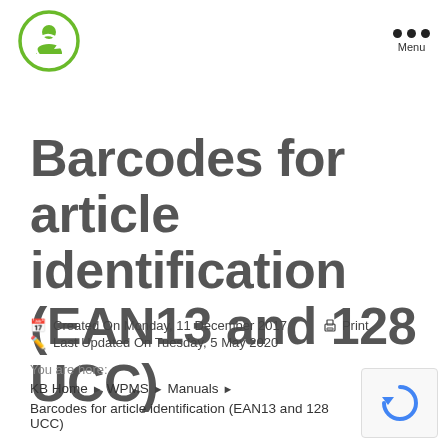Logo and Menu navigation
Barcodes for article identification (EAN13 and 128 UCC)
Created On Monday, 11 December 2017   Print
Last Updated On Tuesday, 5 May 2020
You are here:
KB Home ► WPMS ► Manuals ►
Barcodes for article identification (EAN13 and 128 UCC)